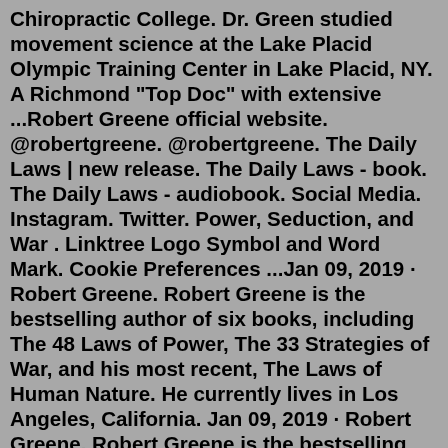Chiropractic College. Dr. Green studied movement science at the Lake Placid Olympic Training Center in Lake Placid, NY. A Richmond "Top Doc" with extensive ...Robert Greene official website. @robertgreene. @robertgreene. The Daily Laws | new release. The Daily Laws - book. The Daily Laws - audiobook. Social Media. Instagram. Twitter. Power, Seduction, and War . Linktree Logo Symbol and Word Mark. Cookie Preferences ...Jan 09, 2019 · Robert Greene. Robert Greene is the bestselling author of six books, including The 48 Laws of Power, The 33 Strategies of War, and his most recent, The Laws of Human Nature. He currently lives in Los Angeles, California. Jan 09, 2019 · Robert Greene. Robert Greene is the bestselling author of six books, including The 48 Laws of Power, The 33 Strategies of War, and his most recent, The Laws of Human Nature. He currently lives in Los Angeles, California. View Robert Greene's profile on LinkedIn, the world's largest professional community. Robert has 5